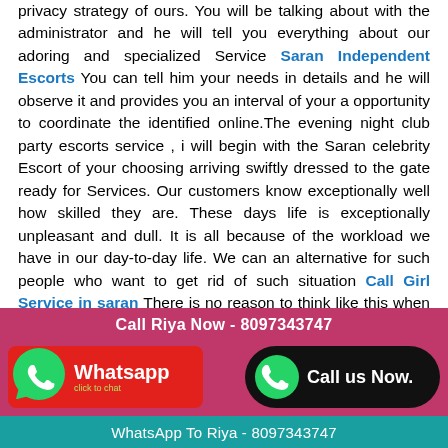privacy strategy of ours. You will be talking about with the administrator and he will tell you everything about our adoring and specialized Service Saran Independent Escorts You can tell him your needs in details and he will observe it and provides you an interval of your a opportunity to coordinate the identified online.The evening night club party escorts service , i will begin with the Saran celebrity Escort of your choosing arriving swiftly dressed to the gate ready for Services. Our customers know exceptionally well how skilled they are. These days life is exceptionally unpleasant and dull. It is all because of the workload we have in our day-to-day life. We can an alternative for such people who want to get rid of such situation Call Girl Service in saran There is no reason to think like this when you are with the hot curvy Independent Saran Call Girls who can make each minute loaded with joy and pleasure In the event that there is a sudden change in the plan you can let us know in order to implement that perfectly. We are certain you will never
[Figure (infographic): Pink/magenta banner with 'Call Riya Now - 8097343747' at top, WhatsApp button on left with red background and phone icon, 'Call us Now.' button on right with black rounded background and green phone icon, teal strip at bottom with 'WhatsApp To Riya - 8097343747']